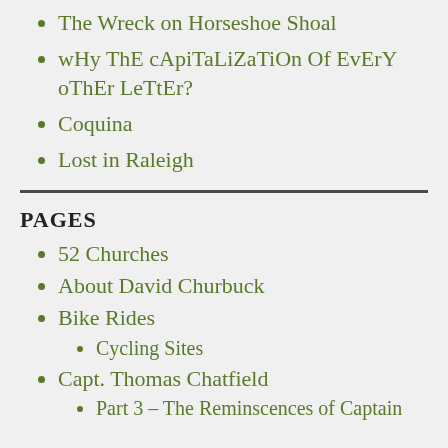The Wreck on Horseshoe Shoal
wHy ThE cApiTaLiZaTiOn Of EvErY oThEr LeTtEr?
Coquina
Lost in Raleigh
PAGES
52 Churches
About David Churbuck
Bike Rides
Cycling Sites
Capt. Thomas Chatfield
Part 3 – The Reminscences of Captain